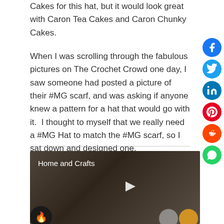Cakes for this hat, but it would look great with Caron Tea Cakes and Caron Chunky Cakes.
When I was scrolling through the fabulous pictures on The Crochet Crowd one day, I saw someone had posted a picture of their #MG scarf, and was asking if anyone knew a pattern for a hat that would go with it.  I thought to myself that we really need a #MG Hat to match the #MG scarf, so I sat down and designed one.
[Figure (screenshot): Video thumbnail showing a person crafting, titled 'Home and Crafts', with a play button overlay. Social media share icons (Facebook, Twitter, LinkedIn, Pinterest, Reddit, WhatsApp) visible on the right side. A flame emoji button visible at bottom left.]